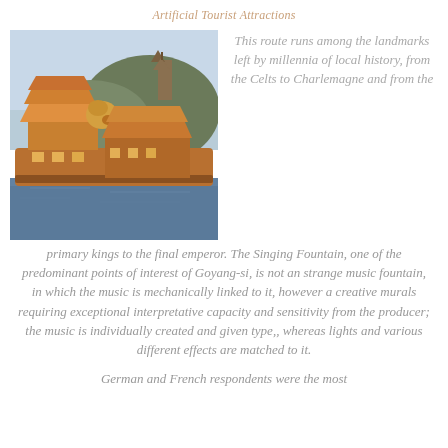Artificial Tourist Attractions
[Figure (photo): Photo of traditional Chinese floating restaurant boats on a lake with a pagoda and hillside in the background]
This route runs among the landmarks left by millennia of local history, from the Celts to Charlemagne and from the primary kings to the final emperor. The Singing Fountain, one of the predominant points of interest of Goyang-si, is not an strange music fountain, in which the music is mechanically linked to it, however a creative murals requiring exceptional interpretative capacity and sensitivity from the producer; the music is individually created and given type,, whereas lights and various different effects are matched to it.
German and French respondents were the most